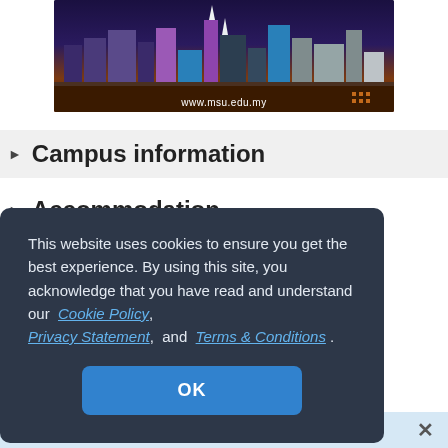[Figure (photo): MSU university campus skyline photo banner with url www.msu.edu.my at the bottom]
▶ Campus information
▶ Accommodation
This website uses cookies to ensure you get the best experience. By using this site, you acknowledge that you have read and understand our Cookie Policy, Privacy Statement, and Terms & Conditions .
OK